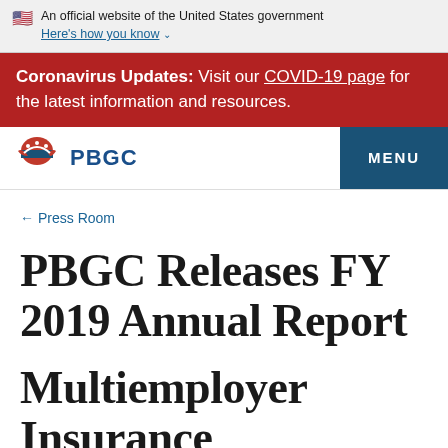An official website of the United States government. Here's how you know
Coronavirus Updates: Visit our COVID-19 page for the latest information and resources.
[Figure (logo): PBGC logo with eagle/shield icon and blue PBGC wordmark, plus MENU button]
← Press Room
PBGC Releases FY 2019 Annual Report
Multiemployer Insurance